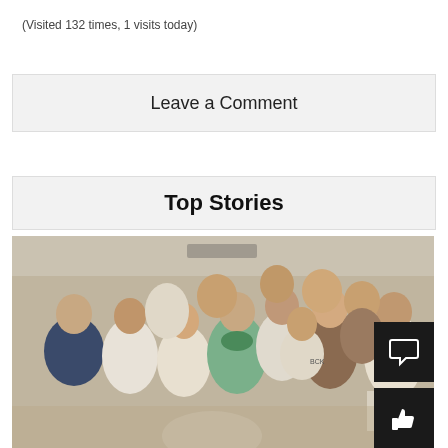(Visited 132 times, 1 visits today)
Leave a Comment
Top Stories
[Figure (photo): Group photo of approximately 12-14 people, including men and women of various ages, posing together indoors in what appears to be an office or institutional setting. Several people are wearing white sweatshirts, one person in a green top with a scarf, one in a navy blazer. Two dark overlay buttons visible at bottom-right: a comment/speech bubble icon and a thumbs-up/like icon.]